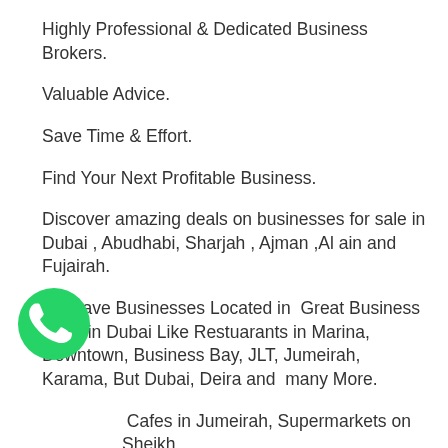Highly Professional & Dedicated Business Brokers.
Valuable Advice.
Save Time & Effort.
Find Your Next Profitable Business.
Discover amazing deals on businesses for sale in Dubai , Abudhabi, Sharjah , Ajman ,Al ain and Fujairah.
We have Businesses Located in  Great Business Hubs in Dubai Like Restuarants in Marina, Downtown, Business Bay, JLT, Jumeirah, Karama, But Dubai, Deira and  many More.
Cafes in Jumeirah, Supermarkets on Sheikh d, Spa and salons near Palm Beach.
Buy businesses for sale through BIZQUARTZ
[Figure (logo): WhatsApp floating button icon — green circle with white phone handset]